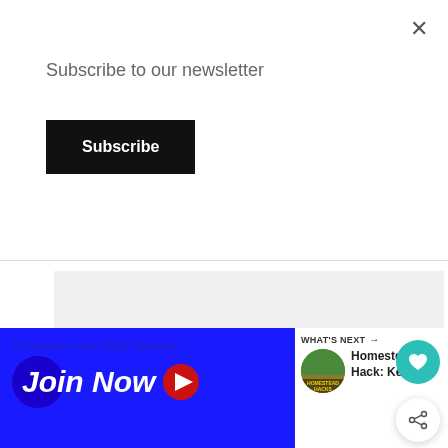Subscribe to our newsletter
Subscribe
[Figure (other): Grey rectangle placeholder content area]
[Figure (other): Teal circular heart (favorite) button]
[Figure (other): White circular share button with share icon]
[Figure (other): Blue banner with 'To Receive Our FREE Newsle...' text and 'Join Now' with play button, plus 'WHAT'S NEXT' card for Homestead Hack: Keepi...]